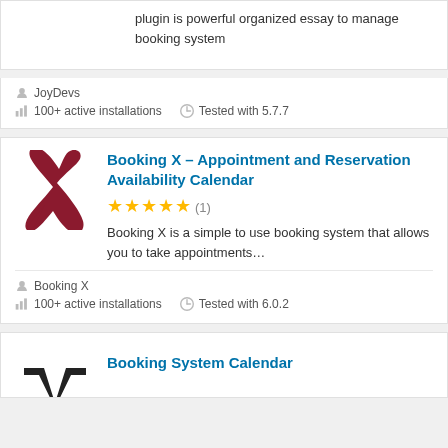plugin is powerful organized essay to manage booking system
JoyDevs
100+ active installations
Tested with 5.7.7
[Figure (logo): Booking X logo - a large stylized dark red X in cursive/calligraphic style]
Booking X – Appointment and Reservation Availability Calendar
★★★★★ (1)
Booking X is a simple to use booking system that allows you to take appointments...
Booking X
100+ active installations
Tested with 6.0.2
[Figure (logo): Black and white stylized V or W shape logo for Booking System Calendar]
Booking System Calendar